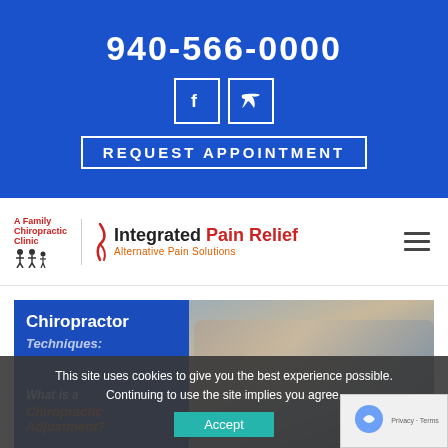940-566-0000
REQUEST APPOINTMENT
[Figure (logo): A Family Chiropractic Clinic - Integrated Pain Relief Alternative Pain Solutions logo with navigation hamburger menu]
[Figure (photo): Chiropractor performing spinal adjustment on patient lying face down. Blue overlay on left side with text 'Chiropractor Techniques: What is a Chiropractic Adjustment?']
This site uses cookies to give you the best experience possible. Continuing to use the site implies you agree.
Accept